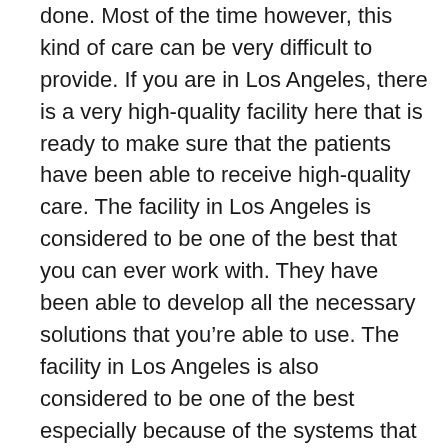done. Most of the time however, this kind of care can be very difficult to provide. If you are in Los Angeles, there is a very high-quality facility here that is ready to make sure that the patients have been able to receive high-quality care. The facility in Los Angeles is considered to be one of the best that you can ever work with. They have been able to develop all the necessary solutions that you’re able to use. The facility in Los Angeles is also considered to be one of the best especially because of the systems that they have been able to develop in order to make sure that they are able to provide the best care to the people who have a lot of timers.
Alzheimer’s disease is a condition that...